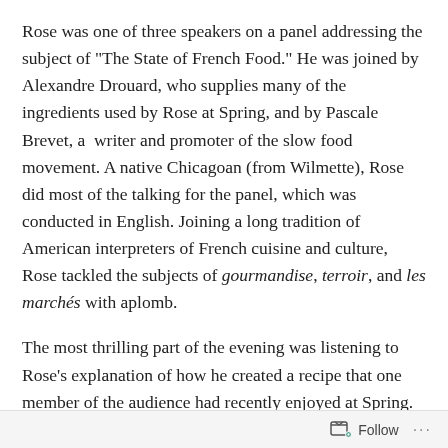Rose was one of three speakers on a panel addressing the subject of "The State of French Food." He was joined by Alexandre Drouard, who supplies many of the ingredients used by Rose at Spring, and by Pascale Brevet, a writer and promoter of the slow food movement. A native Chicagoan (from Wilmette), Rose did most of the talking for the panel, which was conducted in English. Joining a long tradition of American interpreters of French cuisine and culture, Rose tackled the subjects of gourmandise, terroir, and les marchés with aplomb.
The most thrilling part of the evening was listening to Rose's explanation of how he created a recipe that one member of the audience had recently enjoyed at Spring. The dish of mackerel with smoked tomatoes illustrated his commitment to the principle of terroir, which encompasses the plants,
Follow ···